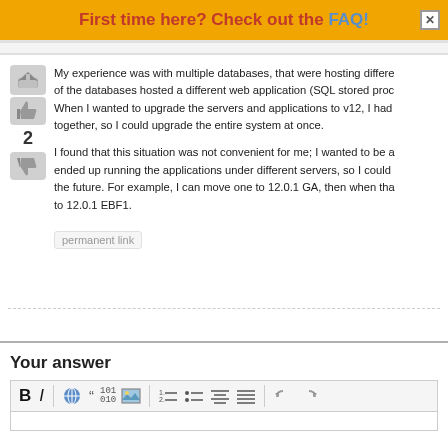First time here? Check out the FAQ!
My experience was with multiple databases, that were hosting different... of the databases hosted a different web application (SQL stored proc... When I wanted to upgrade the servers and applications to v12, I had together, so I could upgrade the entire system at once.

I found that this situation was not convenient for me; I wanted to be a... ended up running the applications under different servers, so I could... the future. For example, I can move one to 12.0.1 GA, then when tha... to 12.0.1 EBF1.
permanent link
Your answer